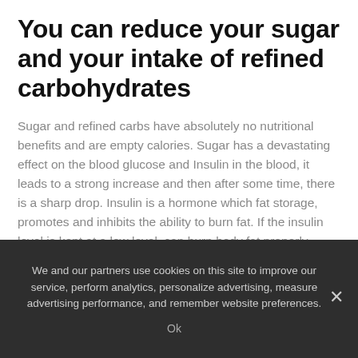You can reduce your sugar and your intake of refined carbohydrates
Sugar and refined carbs have absolutely no nutritional benefits and are empty calories. Sugar has a devastating effect on the blood glucose and Insulin in the blood, it leads to a strong increase and then after some time, there is a sharp drop. Insulin is a hormone which fat storage, promotes and inhibits the ability to burn fat. If the insulin level is kept at a low level, can burn body fat properly.
We and our partners use cookies on this site to improve our service, perform analytics, personalize advertising, measure advertising performance, and remember website preferences.
Ok